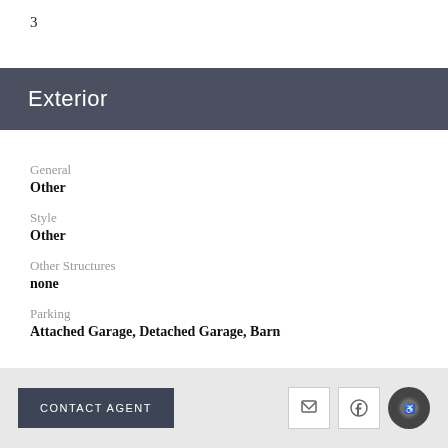3
Exterior
General
Other
Style
Other
Other Structures
none
Parking
Attached Garage, Detached Garage, Barn
CONTACT AGENT